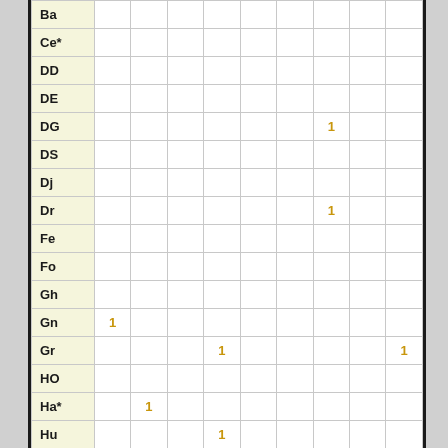|  | col1 | col2 | col3 | col4 | col5 | col6 | col7 | col8 | col9 |
| --- | --- | --- | --- | --- | --- | --- | --- | --- | --- |
| Ba |  |  |  |  |  |  |  |  |  |
| Ce* |  |  |  |  |  |  |  |  |  |
| DD |  |  |  |  |  |  |  |  |  |
| DE |  |  |  |  |  |  |  |  |  |
| DG |  |  |  |  |  |  | 1 |  |  |
| DS |  |  |  |  |  |  |  |  |  |
| Dj |  |  |  |  |  |  |  |  |  |
| Dr |  |  |  |  |  |  | 1 |  |  |
| Fe |  |  |  |  |  |  |  |  |  |
| Fo |  |  |  |  |  |  |  |  |  |
| Gh |  |  |  |  |  |  |  |  |  |
| Gn | 1 |  |  |  |  |  |  |  |  |
| Gr |  |  |  | 1 |  |  |  |  | 1 |
| HO |  |  |  |  |  |  |  |  |  |
| Ha* |  | 1 |  |  |  |  |  |  |  |
| Hu |  |  |  | 1 |  |  |  |  |  |